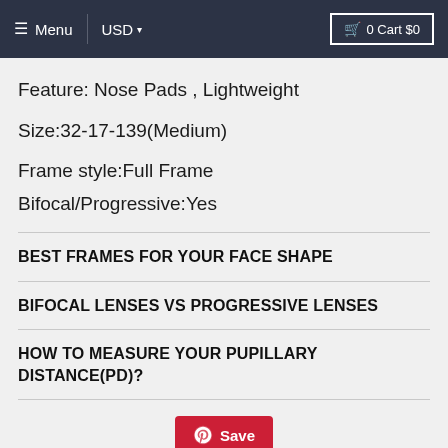≡ Menu  |  USD ▾  🛒 0 Cart $0
Feature: Nose Pads , Lightweight
Size:32-17-139(Medium)
Frame style:Full Frame
Bifocal/Progressive:Yes
BEST FRAMES FOR YOUR FACE SHAPE
BIFOCAL LENSES VS PROGRESSIVE LENSES
HOW TO MEASURE YOUR PUPILLARY DISTANCE(PD)?
[Figure (other): Pinterest Save button (red rounded button with Pinterest logo and 'Save' text)]